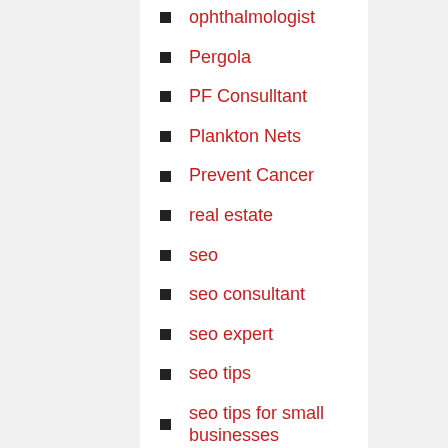ophthalmologist
Pergola
PF Consulltant
Plankton Nets
Prevent Cancer
real estate
seo
seo consultant
seo expert
seo tips
seo tips for small businesses
shopping
Technology
Trophy
Uncategorized
Youtube